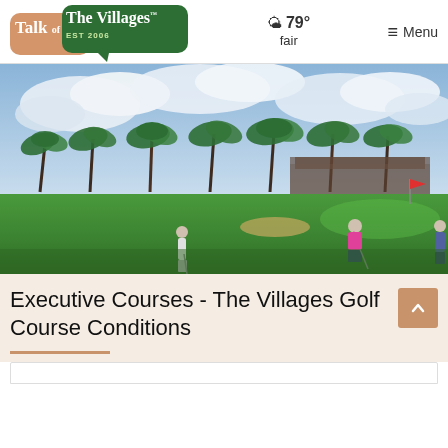Talk of The Villages — EST 2006 | 79° fair | Menu
[Figure (photo): Golfers on a putting green at The Villages golf course, with palm trees and a clubhouse visible in the background under a partly cloudy sky.]
Executive Courses - The Villages Golf Course Conditions